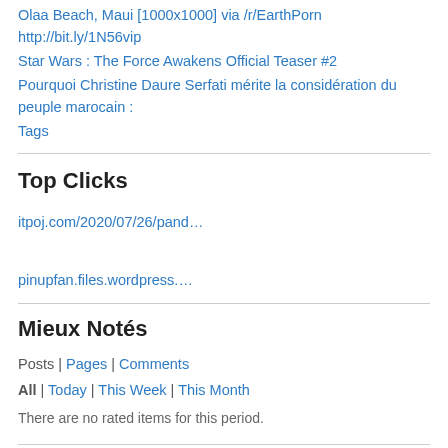Olaa Beach, Maui [1000x1000] via /r/EarthPorn http://bit.ly/1N56vip
Star Wars : The Force Awakens Official Teaser #2
Pourquoi Christine Daure Serfati mérite la considération du peuple marocain :
Tags
Top Clicks
itpoj.com/2020/07/26/pand…
pinupfan.files.wordpress.…
Mieux Notés
Posts | Pages | Comments
All | Today | This Week | This Month
There are no rated items for this period.